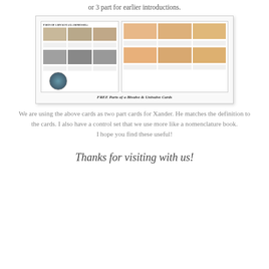or 3 part for earlier introductions.
[Figure (photo): Preview image of FREE Parts of a Bivalve & Univalve Cards showing two overlapping card sheets with photo cards of shells and mollusks, plus a circular Montessori logo]
FREE Parts of a Bivalve & Univalve Cards
We are using the above cards as two part cards for Xander. He matches the definition to the cards. I also have a control set that we use more like a nomenclature book. I hope you find these useful!
Thanks for visiting with us!